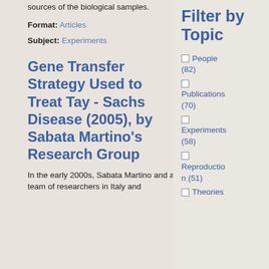sources of the biological samples.
Format: Articles
Subject: Experiments
Gene Transfer Strategy Used to Treat Tay - Sachs Disease (2005), by Sabata Martino's Research Group
In the early 2000s, Sabata Martino and a team of researchers in Italy and
Filter by Topic
People (82)
Publications (70)
Experiments (58)
Reproduction (51)
Theories